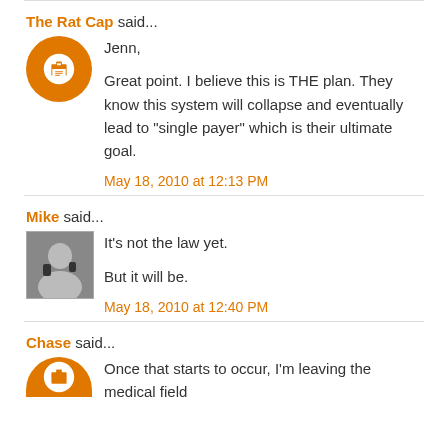The Rat Cap said...
Jenn,

Great point. I believe this is THE plan. They know this system will collapse and eventually lead to "single payer" which is their ultimate goal.

May 18, 2010 at 12:13 PM
Mike said...
It's not the law yet.

But it will be.

May 18, 2010 at 12:40 PM
Chase said...
Once that starts to occur, I'm leaving the medical field